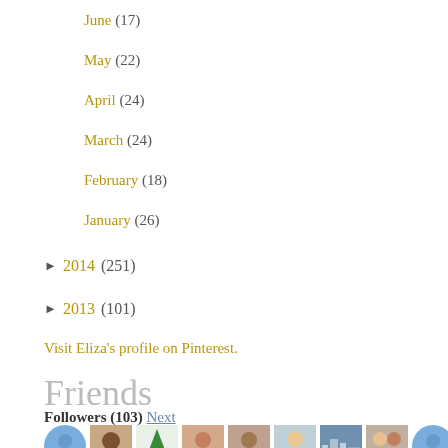June (17)
May (22)
April (24)
March (24)
February (18)
January (26)
► 2014 (251)
► 2013 (101)
Visit Eliza's profile on Pinterest.
Friends
Followers (103) Next
[Figure (photo): Row of follower avatar thumbnails]